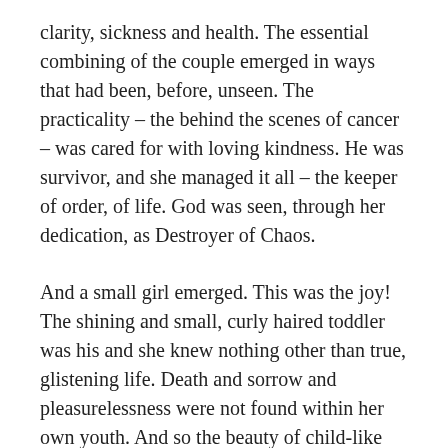clarity, sickness and health.  The essential combining of the couple emerged in ways that had been, before, unseen.  The practicality – the behind the scenes of cancer – was cared for with loving kindness.  He was survivor, and she managed it all – the keeper of order, of life.  God was seen, through her dedication, as Destroyer of Chaos.
And a small girl emerged.  This was the joy!  The shining and small, curly haired toddler was his and she knew nothing other than true, glistening life.  Death and sorrow and pleasurelessness were not found within her own youth.  And so the beauty of child-like and beautiful ignorance danced to a beat different than pain and isolation.  She was a bright gift from the Immortal to temporal.  From Daddy to daddy.